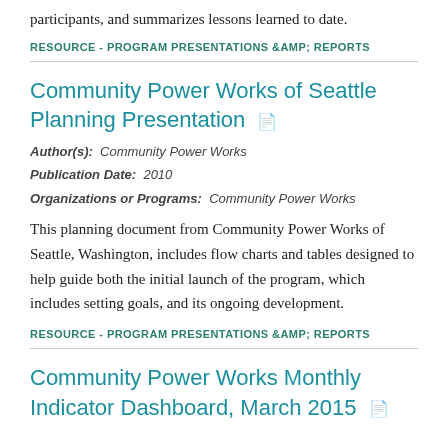participants, and summarizes lessons learned to date.
RESOURCE - PROGRAM PRESENTATIONS &AMP; REPORTS
Community Power Works of Seattle Planning Presentation
Author(s): Community Power Works
Publication Date: 2010
Organizations or Programs: Community Power Works
This planning document from Community Power Works of Seattle, Washington, includes flow charts and tables designed to help guide both the initial launch of the program, which includes setting goals, and its ongoing development.
RESOURCE - PROGRAM PRESENTATIONS &AMP; REPORTS
Community Power Works Monthly Indicator Dashboard, March 2015